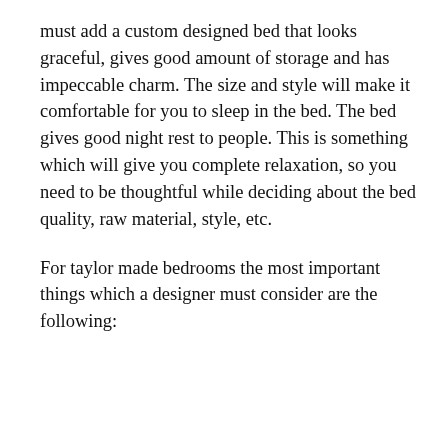must add a custom designed bed that looks graceful, gives good amount of storage and has impeccable charm. The size and style will make it comfortable for you to sleep in the bed. The bed gives good night rest to people. This is something which will give you complete relaxation, so you need to be thoughtful while deciding about the bed quality, raw material, style, etc.
For taylor made bedrooms the most important things which a designer must consider are the following: